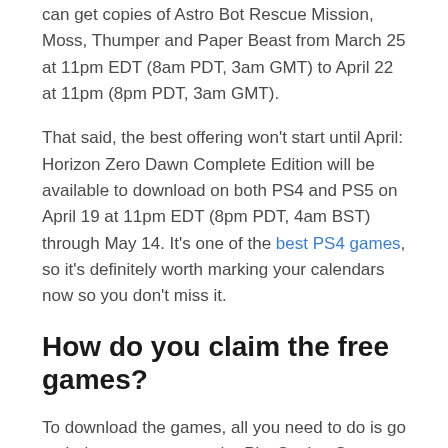can get copies of Astro Bot Rescue Mission, Moss, Thumper and Paper Beast from March 25 at 11pm EDT (8am PDT, 3am GMT) to April 22 at 11pm (8pm PDT, 3am GMT).
That said, the best offering won't start until April: Horizon Zero Dawn Complete Edition will be available to download on both PS4 and PS5 on April 19 at 11pm EDT (8pm PDT, 4am BST) through May 14. It's one of the best PS4 games, so it's definitely worth marking your calendars now so you don't miss it.
How do you claim the free games?
To download the games, all you need to do is go to their store pages on the PlayStation Store and hit download.
What's nice about the offer is that you don't need to be a PlayStation Plus member to take